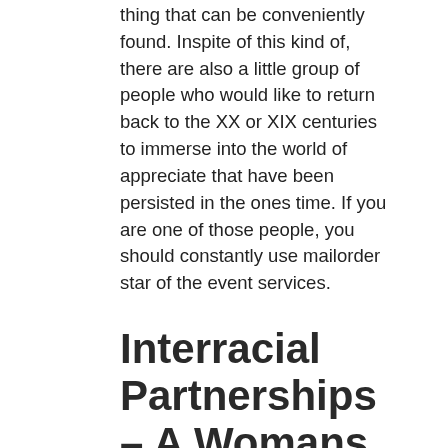thing that can be conveniently found. Inspite of this kind of, there are also a little group of people who would like to return back to the XX or XIX centuries to immerse into the world of appreciate that have been persisted in the ones time. If you are one of those people, you should constantly use mailorder star of the event services.
Interracial Partnerships – A Womans Perspective
So , almost all mail brides to be want to find a brilliant, stable, supportive, and fun man. If a fellow can make a female laugh, he will probably attract her attention.